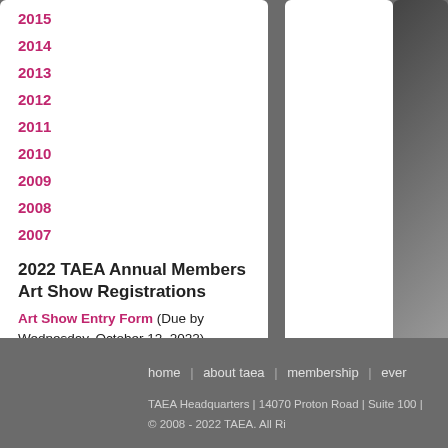2015
2014
2013
2012
2011
2010
2009
2008
2007
2022 TAEA Annual Members Art Show Registrations
Art Show Entry Form (Due by Wednesday, October 12, 2022)
home | about taea | membership | ever
TAEA Headquarters | 14070 Proton Road | Suite 100 |
© 2008 - 2022 TAEA. All Ri